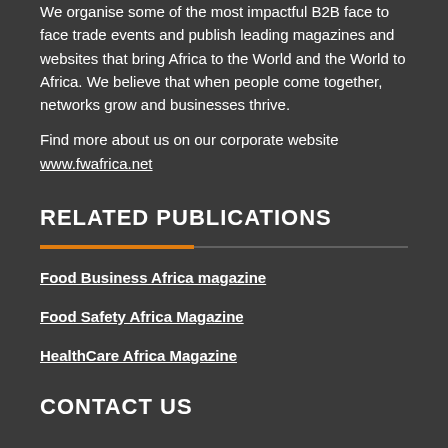We organise some of the most impactful B2B face to face trade events and publish leading magazines and websites that bring Africa to the World and the World to Africa. We believe that when people come together, networks grow and businesses thrive.
Find more about us on our corporate website www.fwafrica.net
RELATED PUBLICATIONS
Food Business Africa magazine
Food Safety Africa Magazine
HealthCare Africa Magazine
CONTACT US